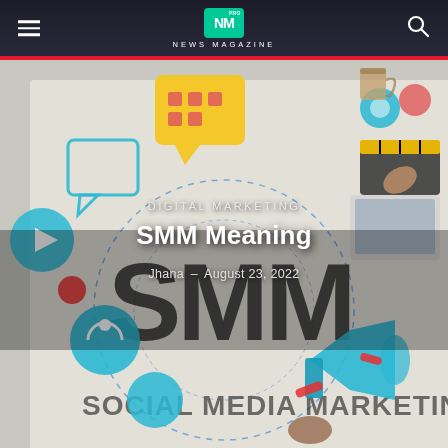NM PRO NEWS MAGAZINE
[Figure (photo): Social media marketing concept image showing SMM text with social media icons, colored speech bubbles, megaphone, gears, and hands around a circular diagram on a white surface]
DIGITAL MARKETING
SMM Meaning
Jhana - August 23, 2022